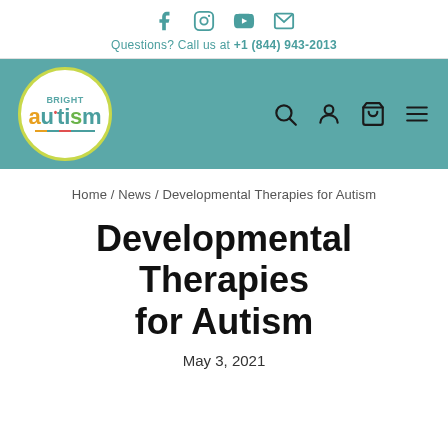[Figure (logo): Social media icons: Facebook, Instagram, YouTube, Email in teal color]
Questions? Call us at +1 (844) 943-2013
[Figure (logo): Bright Autism logo in white circle with teal navigation bar, search, user, cart, and menu icons]
Home / News / Developmental Therapies for Autism
Developmental Therapies for Autism
May 3, 2021